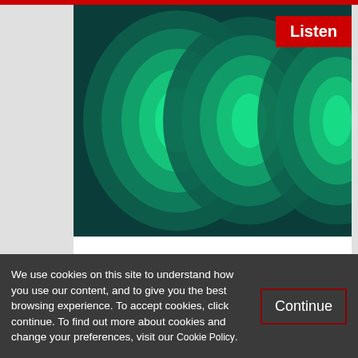[Figure (illustration): Abstract art showing overlapping concentric oval/ellipse shapes in shades of green and teal on a dark teal/blue background, with a red 'Listen' button overlay in the top-right corner.]
From the vaults: Parallel Universes
We use cookies on this site to understand how you use our content, and to give you the best browsing experience. To accept cookies, click continue. To find out more about cookies and change your preferences, visit our Cookie Policy.